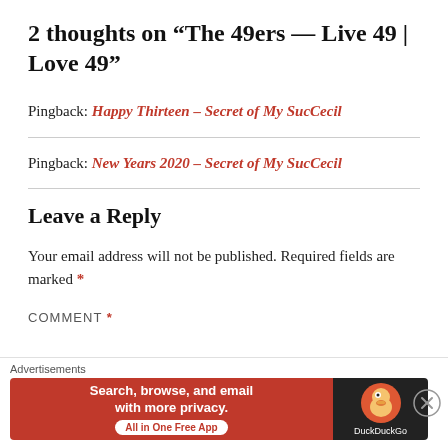2 thoughts on “The 49ers — Live 49 | Love 49”
Pingback: Happy Thirteen – Secret of My SucCecil
Pingback: New Years 2020 – Secret of My SucCecil
Leave a Reply
Your email address will not be published. Required fields are marked *
COMMENT *
[Figure (screenshot): DuckDuckGo advertisement banner: orange left section with 'Search, browse, and email with more privacy. All in One Free App', dark right section with DuckDuckGo logo and duck icon]